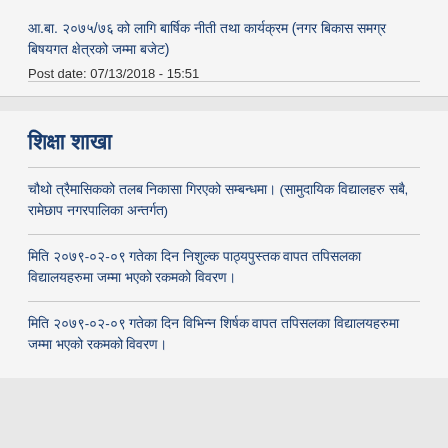आ.बा. २०७५/७६ को लागि बार्षिक नीती तथा कार्यक्रम (नगर बिकास समग्र बिषयगत क्षेत्रको जम्मा बजेट)
Post date: 07/13/2018 - 15:51
शिक्षा शाखा
चौथो त्रैमासिकको तलब निकासा गिरएको सम्बन्धमा। (सामुदायिक विद्यालहरु सबै, रामेछाप नगरपालिका अन्तर्गत)
मिति २०७९-०२-०९ गतेका दिन निशुल्क पाठ्यपुस्तक वापत तपिसलका विद्यालयहरुमा जम्मा भएको रकमको विवरण।
मिति २०७९-०२-०९ गतेका दिन विभिन्न शिर्षक वापत तपिसलका विद्यालयहरुमा जम्मा भएको रकमको विवरण।